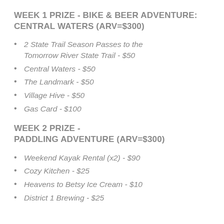WEEK 1 PRIZE - BIKE & BEER ADVENTURE: CENTRAL WATERS (ARV=$300)
2 State Trail Season Passes to the Tomorrow River State Trail - $50
Central Waters - $50
The Landmark - $50
Village Hive - $50
Gas Card - $100
WEEK 2 PRIZE - PADDLING ADVENTURE (ARV=$300)
Weekend Kayak Rental (x2) - $90
Cozy Kitchen - $25
Heavens to Betsy Ice Cream - $10
District 1 Brewing - $25